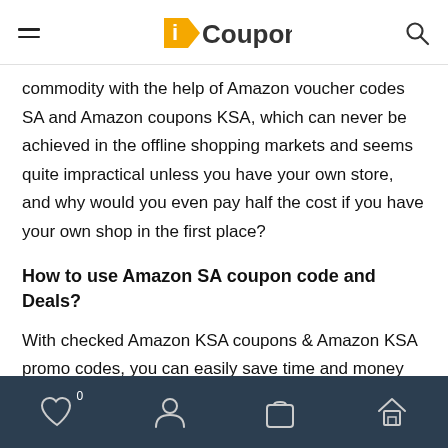iCouponU
commodity with the help of Amazon voucher codes SA and Amazon coupons KSA, which can never be achieved in the offline shopping markets and seems quite impractical unless you have your own store, and why would you even pay half the cost if you have your own shop in the first place?
How to use Amazon SA coupon code and Deals?
With checked Amazon KSA coupons & Amazon KSA promo codes, you can easily save time and money while enjoying a great shopping experience.
Navigation bar with: wishlist (0), account, bag, home icons